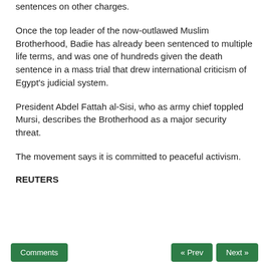sentences on other charges.
Once the top leader of the now-outlawed Muslim Brotherhood, Badie has already been sentenced to multiple life terms, and was one of hundreds given the death sentence in a mass trial that drew international criticism of Egypt's judicial system.
President Abdel Fattah al-Sisi, who as army chief toppled Mursi, describes the Brotherhood as a major security threat.
The movement says it is committed to peaceful activism.
REUTERS
Comments  « Prev  Next »